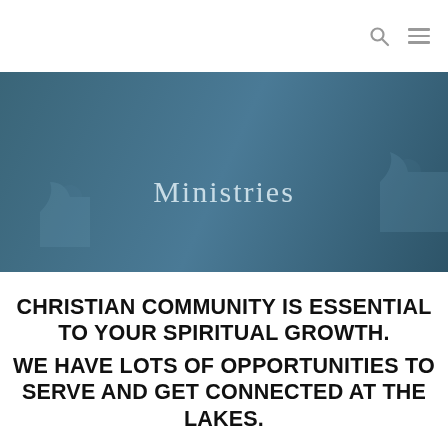[Figure (photo): Hero banner with teal/blue gradient background and faint puzzle piece shapes, displaying the title 'Ministries' in light gray serif font centered on the banner.]
Ministries
CHRISTIAN COMMUNITY IS ESSENTIAL TO YOUR SPIRITUAL GROWTH. WE HAVE LOTS OF OPPORTUNITIES TO SERVE AND GET CONNECTED AT THE LAKES.